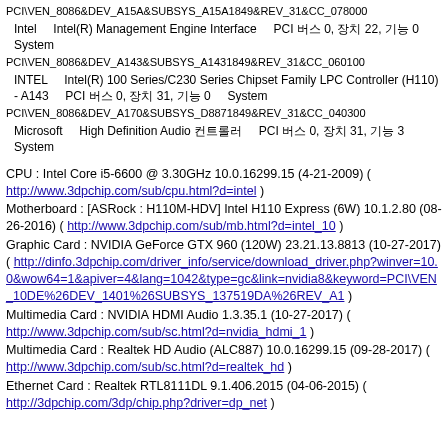PCI\VEN_8086&DEV_A15A&SUBSYS_A15A1849&REV_31&CC_078000
Intel    Intel(R) Management Engine Interface    PCI 버스 0, 장치 22, 기능 0    System
PCI\VEN_8086&DEV_A143&SUBSYS_A1431849&REV_31&CC_060100
INTEL    Intel(R) 100 Series/C230 Series Chipset Family LPC Controller (H110) - A143    PCI 버스 0, 장치 31, 기능 0    System
PCI\VEN_8086&DEV_A170&SUBSYS_D8871849&REV_31&CC_040300
Microsoft    High Definition Audio 컨트롤러    PCI 버스 0, 장치 31, 기능 3    System
CPU : Intel Core i5-6600 @ 3.30GHz 10.0.16299.15 (4-21-2009) ( http://www.3dpchip.com/sub/cpu.html?d=intel )
Motherboard : [ASRock : H110M-HDV] Intel H110 Express (6W) 10.1.2.80 (08-26-2016) ( http://www.3dpchip.com/sub/mb.html?d=intel_10 )
Graphic Card : NVIDIA GeForce GTX 960 (120W) 23.21.13.8813 (10-27-2017) ( http://dinfo.3dpchip.com/driver_info/service/download_driver.php?winver=10.0&wow64=1&apiver=4&lang=1042&type=gc&link=nvidia8&keyword=PCI\VEN_10DE%26DEV_1401%26SUBSYS_137519DA%26REV_A1 )
Multimedia Card : NVIDIA HDMI Audio 1.3.35.1 (10-27-2017) ( http://www.3dpchip.com/sub/sc.html?d=nvidia_hdmi_1 )
Multimedia Card : Realtek HD Audio (ALC887) 10.0.16299.15 (09-28-2017) ( http://www.3dpchip.com/sub/sc.html?d=realtek_hd )
Ethernet Card : Realtek RTL8111DL 9.1.406.2015 (04-06-2015) ( http://3dpchip.com/3dp/chip.php?driver=dp_net )